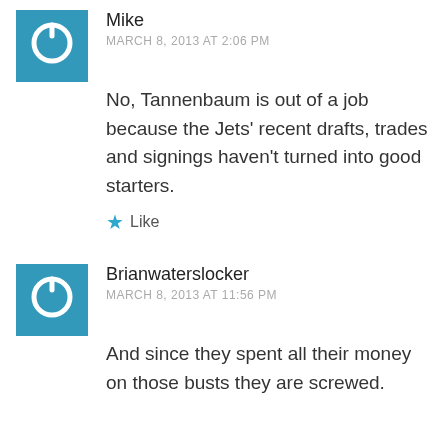[Figure (illustration): Blue square avatar with white power button icon]
Mike
MARCH 8, 2013 AT 2:06 PM
No, Tannenbaum is out of a job because the Jets' recent drafts, trades and signings haven't turned into good starters.
★ Like
[Figure (illustration): Blue square avatar with white power button icon]
Brianwaterslocker
MARCH 8, 2013 AT 11:56 PM
And since they spent all their money on those busts they are screwed.